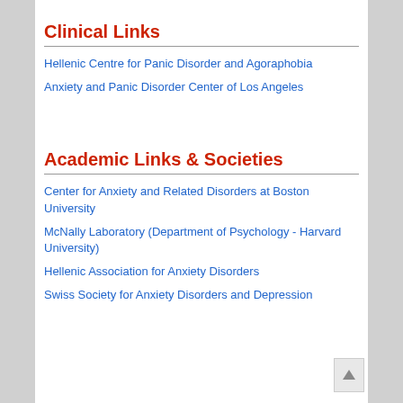Clinical Links
Hellenic Centre for Panic Disorder and Agoraphobia
Anxiety and Panic Disorder Center of Los Angeles
Academic Links & Societies
Center for Anxiety and Related Disorders at Boston University
McNally Laboratory (Department of Psychology - Harvard University)
Hellenic Association for Anxiety Disorders
Swiss Society for Anxiety Disorders and Depression